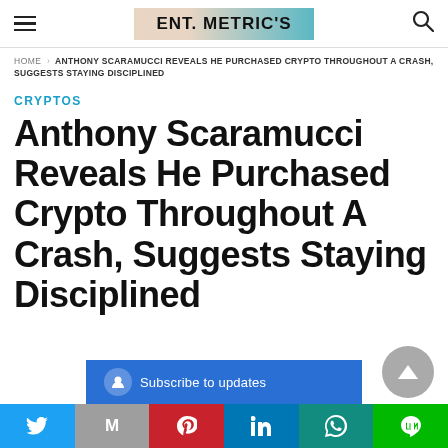ENT. METRIC'S
HOME › ANTHONY SCARAMUCCI REVEALS HE PURCHASED CRYPTO THROUGHOUT A CRASH, SUGGESTS STAYING DISCIPLINED
CRYPTOS
Anthony Scaramucci Reveals He Purchased Crypto Throughout A Crash, Suggests Staying Disciplined
Subscribe to updates